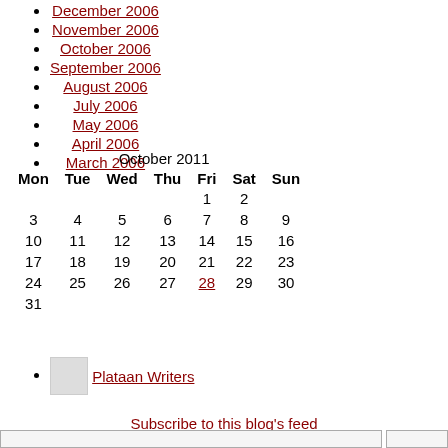December 2006
November 2006
October 2006
September 2006
August 2006
July 2006
May 2006
April 2006
March 2006
| Mon | Tue | Wed | Thu | Fri | Sat | Sun |
| --- | --- | --- | --- | --- | --- | --- |
|  |  |  |  | 1 | 2 |  |
| 3 | 4 | 5 | 6 | 7 | 8 | 9 |
| 10 | 11 | 12 | 13 | 14 | 15 | 16 |
| 17 | 18 | 19 | 20 | 21 | 22 | 23 |
| 24 | 25 | 26 | 27 | 28 | 29 | 30 |
| 31 |  |  |  |  |  |  |
Stoelen_210 Plataan Writers
Subscribe to this blog's feed